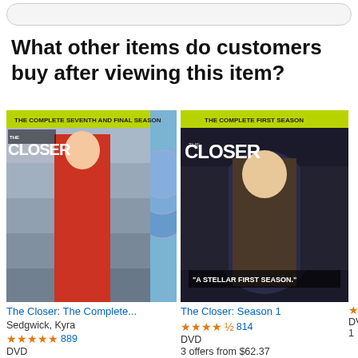What other items do customers buy after viewing this item?
[Figure (photo): DVD cover of The Closer: The Complete Seventh and Final Season, showing Kyra Sedgwick in red dress surrounded by cast members, with blue DVD discs visible]
The Closer: The Complete...
Sedgwick, Kyra
★★★★★ 889
DVD
2 offers from $60.22
[Figure (photo): DVD cover of The Closer: Season 1 with yellow-green banner, showing blonde woman surrounded by dark-suited men, text 'A STELLAR FIRST SEASON.']
The Closer: Season 1
★★★★½ 814
DVD
3 offers from $62.37